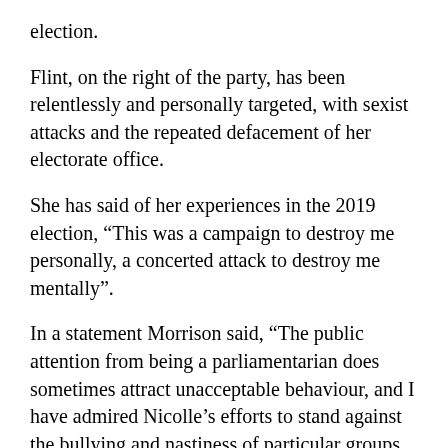election.
Flint, on the right of the party, has been relentlessly and personally targeted, with sexist attacks and the repeated defacement of her electorate office.
She has said of her experiences in the 2019 election, “This was a campaign to destroy me personally, a concerted attack to destroy me mentally”.
In a statement Morrison said, “The public attention from being a parliamentarian does sometimes attract unacceptable behaviour, and I have admired Nicolle’s efforts to stand against the bullying and nastiness of particular groups and individuals”.
With the debate of the last fortnight centred on the “toxic” culture in Parliament House, some of Flint’s experiences are a reminder that the toxicity